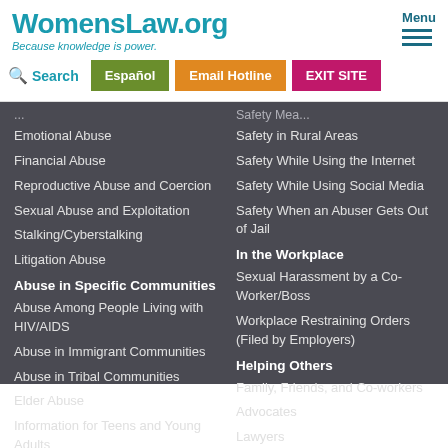WomensLaw.org — Because knowledge is power.
Search
Español
Email Hotline
EXIT SITE
Emotional Abuse
Financial Abuse
Reproductive Abuse and Coercion
Sexual Abuse and Exploitation
Stalking/Cyberstalking
Litigation Abuse
Abuse in Specific Communities
Abuse Among People Living with HIV/AIDS
Abuse in Immigrant Communities
Abuse in Tribal Communities
Elder Abuse
Information for Teens and Young Adults
Safety in Rural Areas
Safety While Using the Internet
Safety While Using Social Media
Safety When an Abuser Gets Out of Jail
In the Workplace
Sexual Harassment by a Co-Worker/Boss
Workplace Restraining Orders (Filed by Employers)
Helping Others
Family, Friends, and Co-workers
Advocates
Lawyers
Doctors/Health Care Professionals